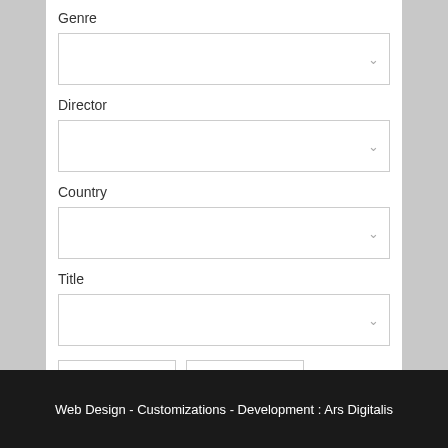Genre
[Figure (screenshot): Dropdown selector for Genre field, empty with chevron arrow]
Director
[Figure (screenshot): Dropdown selector for Director field, empty with chevron arrow]
Country
[Figure (screenshot): Dropdown selector for Country field, empty with chevron arrow]
Title
[Figure (screenshot): Dropdown selector for Title field, empty with chevron arrow]
Search
Reset
Web Design - Customizations - Development : Ars Digitalis